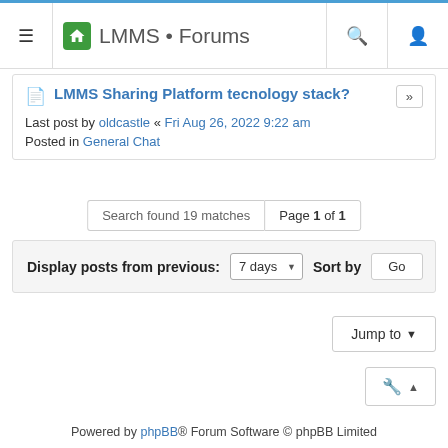LMMS • Forums
LMMS Sharing Platform tecnology stack?
Last post by oldcastle « Fri Aug 26, 2022 9:22 am
Posted in General Chat
Search found 19 matches    Page 1 of 1
Display posts from previous: 7 days    Sort by    Go
Jump to
Powered by phpBB® Forum Software © phpBB Limited